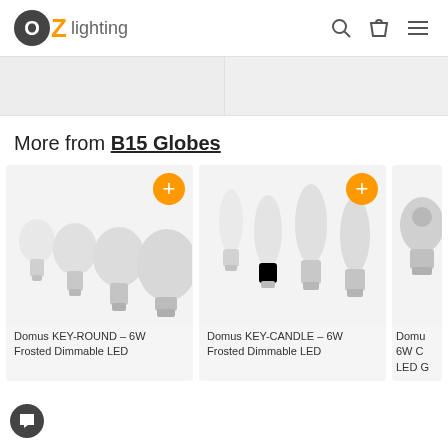OZ lighting
[Figure (photo): Two partial product banner images in light gray]
More from B15 Globes
[Figure (photo): Domus KEY-ROUND product image showing 4 globe bulbs]
Domus KEY-ROUND - 6W Frosted Dimmable LED
[Figure (photo): Domus KEY-CANDLE product image showing candle bulbs]
Domus KEY-CANDLE - 6W Frosted Dimmable LED
[Figure (photo): Partial third product image (Domus 6W)]